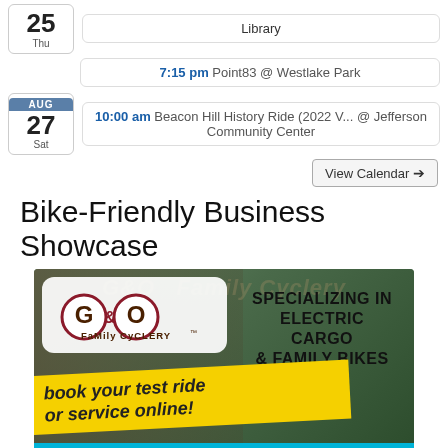25 Thu — Library
25 Thu — 7:15 pm Point83 @ Westlake Park
AUG 27 Sat — 10:00 am Beacon Hill History Ride (2022 V... @ Jefferson Community Center
View Calendar →
Bike-Friendly Business Showcase
[Figure (photo): G&O Family Cyclery advertisement showing logo, 'Specializing in Electric Cargo & Family Bikes', 'book your test ride or service online!', and 'MON-WED 11-5' on a cyan bar at the bottom.]